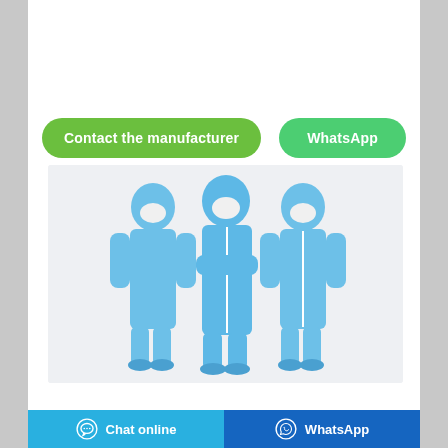[Figure (other): Two green rounded buttons side by side: 'Contact the manufacturer' and 'WhatsApp']
[Figure (photo): Three people wearing blue full-body protective coverall suits with hoods and face masks, and blue shoe covers, standing against a light background]
[Figure (other): Footer bar with 'Chat online' button (light blue) on the left with chat icon, and 'WhatsApp' button (dark blue) on the right with WhatsApp icon]